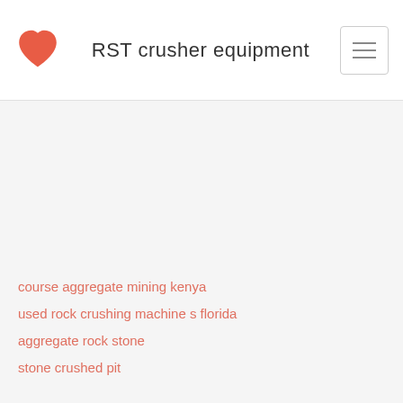RST crusher equipment
course aggregate mining kenya
used rock crushing machine s florida
aggregate rock stone
stone crushed pit